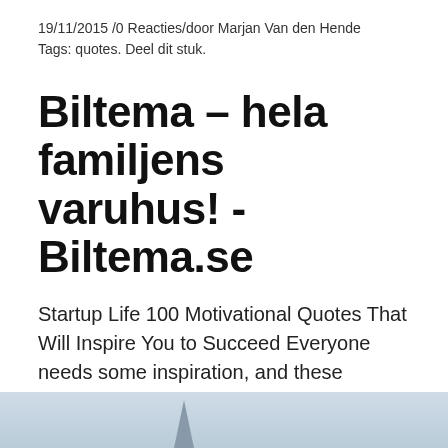19/11/2015 /0 Reacties/door Marjan Van den Hende
Tags: quotes. Deel dit stuk.
Biltema – hela familjens varuhus! - Biltema.se
Startup Life 100 Motivational Quotes That Will Inspire You to Succeed Everyone needs some inspiration, and these motivational quotes will give you the edge you need to create your success. Inspirational quotes can have the power to motivate us, lift our spirit and help us to have more belief in ourselves.
[Figure (photo): Partial view of a photo showing a light blue sky and what appears to be a spire or tower structure at the bottom of the page.]